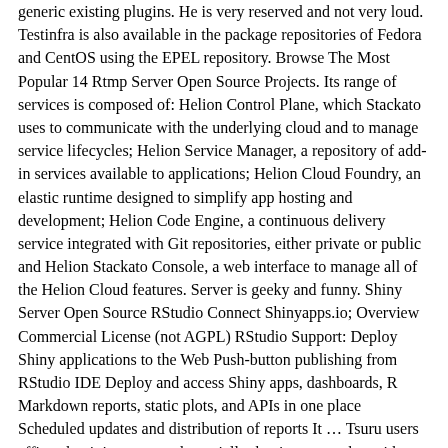generic existing plugins. He is very reserved and not very loud. Testinfra is also available in the package repositories of Fedora and CentOS using the EPEL repository. Browse The Most Popular 14 Rtmp Server Open Source Projects. Its range of services is composed of: Helion Control Plane, which Stackato uses to communicate with the underlying cloud and to manage service lifecycles; Helion Service Manager, a repository of add-in services available to applications; Helion Cloud Foundry, an elastic runtime designed to simplify app hosting and development; Helion Code Engine, a continuous delivery service integrated with Git repositories, either private or public and Helion Stackato Console, a web interface to manage all of the Helion Cloud features. Server is geeky and funny. Shiny Server Open Source RStudio Connect Shinyapps.io; Overview Commercial License (not AGPL) RStudio Support: Deploy Shiny applications to the Web Push-button publishing from RStudio IDE Deploy and access Shiny apps, dashboards, R Markdown reports, static plots, and APIs in one place Scheduled updates and distribution of reports It … Tsuru users affirm that it improves substantially the time to market without giving up simplicity, high availability, security, or stability. SUCURI WAF protects from OWASP top 10 vulnerabilities, brute force, DDoS, malware, and more. It gives more or less the same information as Ookla and NDT, with the addition of jitter which can be useful when debugging VoIP issues. Sponsorship. 1 Review. That is the scenario where WSO2 shines, thanks to its API Manager, which is capable of handling the full API lifecycle. A